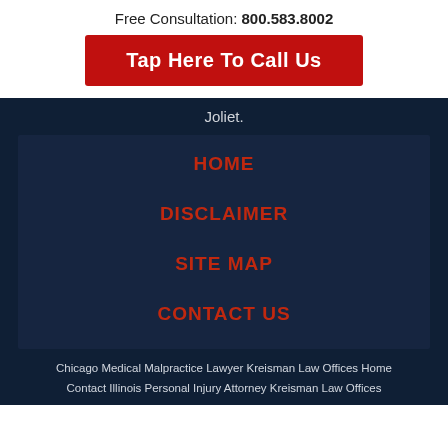Free Consultation: 800.583.8002
Tap Here To Call Us
Joliet.
HOME
DISCLAIMER
SITE MAP
CONTACT US
Chicago Medical Malpractice Lawyer Kreisman Law Offices Home Contact Illinois Personal Injury Attorney Kreisman Law Offices